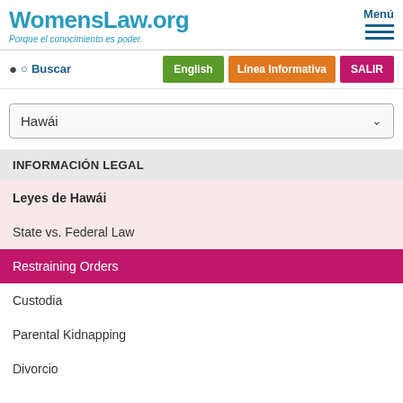WomensLaw.org
Porque el conocimiento es poder.
Menú
Buscar
English
Línea Informativa
SALIR
Hawái
INFORMACIÓN LEGAL
Leyes de Hawái
State vs. Federal Law
Restraining Orders
Custodia
Parental Kidnapping
Divorcio